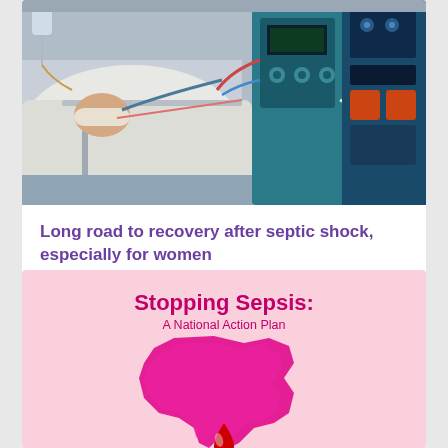[Figure (photo): Hospital ICU scene with a patient lying in a bed covered with white sheets, surrounded by medical equipment including dialysis or monitoring machines with tubes and cables, in a clinical environment.]
Long road to recovery after septic shock, especially for women
[Figure (infographic): Pink background infographic titled 'Stopping Sepsis: A National Action Plan' featuring a stylized hot-pink silhouette of the Australian continent with a red teardrop/blood drop shape at the bottom center.]